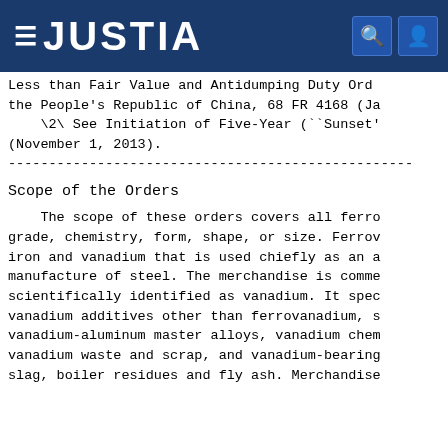JUSTIA
Less than Fair Value and Antidumping Duty Order) on the People's Republic of China, 68 FR 4168 (Ja
    \2\ See Initiation of Five-Year (``Sunset'
(November 1, 2013).
-----------------------------------------------
Scope of the Orders
The scope of these orders covers all ferro grade, chemistry, form, shape, or size. Ferro iron and vanadium that is used chiefly as an a manufacture of steel. The merchandise is comme scientifically identified as vanadium. It spec vanadium additives other than ferrovanadium, s vanadium-aluminum master alloys, vanadium chem vanadium waste and scrap, and vanadium-bearing slag, boiler residues and fly ash. Merchandise